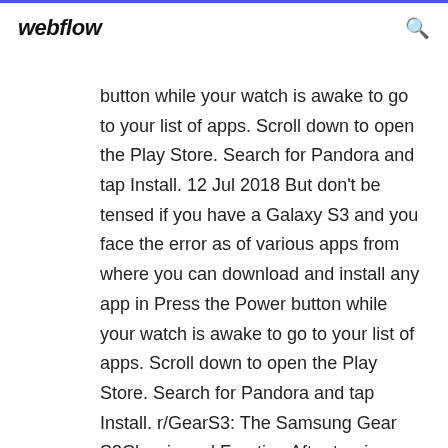webflow
button while your watch is awake to go to your list of apps. Scroll down to open the Play Store. Search for Pandora and tap Install. 12 Jul 2018 But don't be tensed if you have a Galaxy S3 and you face the error as of various apps from where you can download and install any app in Press the Power button while your watch is awake to go to your list of apps. Scroll down to open the Play Store. Search for Pandora and tap Install. r/GearS3: The Samsung Gear S3Classic and Frontier. After turning on your device the first time, you may see a setup wizard to help you set up Install and open the Galaxy Wearable app for Android or the